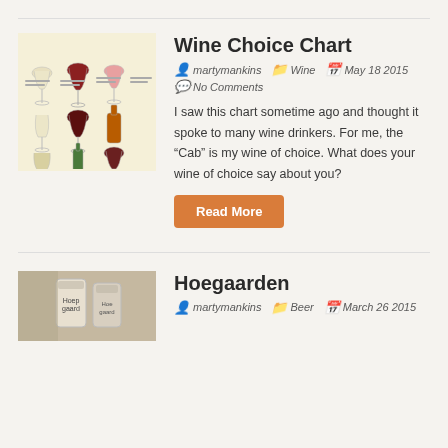[Figure (illustration): Wine choice chart thumbnail showing various wine glasses and bottles with labels]
Wine Choice Chart
martymankins  Wine  May 18 2015
No Comments
I saw this chart sometime ago and thought it spoke to many wine drinkers. For me, the “Cab” is my wine of choice. What does your wine of choice say about you?
Read More
[Figure (photo): Hoegaarden beer can/glass photo]
Hoegaarden
martymankins  Beer  March 26 2015